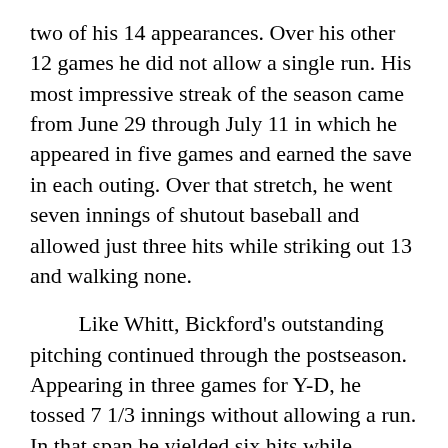two of his 14 appearances. Over his other 12 games he did not allow a single run. His most impressive streak of the season came from June 29 through July 11 in which he appeared in five games and earned the save in each outing. Over that stretch, he went seven innings of shutout baseball and allowed just three hits while striking out 13 and walking none.

Like Whitt, Bickford's outstanding pitching continued through the postseason. Appearing in three games for Y-D, he tossed 7 1/3 innings without allowing a run. In that span he yielded six hits while striking out a terrific 10 opposing batters and walking none. He picked up the save in each appearance – all of which were series clinching games. In the East Division Finals against Harwich Bickford struck out six of the eight batters that he faced to shut the door. He came on for an impressive three shutout innings to